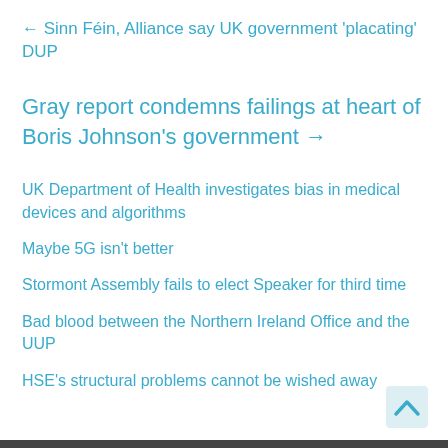← Sinn Féin, Alliance say UK government 'placating' DUP
Gray report condemns failings at heart of Boris Johnson's government →
UK Department of Health investigates bias in medical devices and algorithms
Maybe 5G isn't better
Stormont Assembly fails to elect Speaker for third time
Bad blood between the Northern Ireland Office and the UUP
HSE's structural problems cannot be wished away